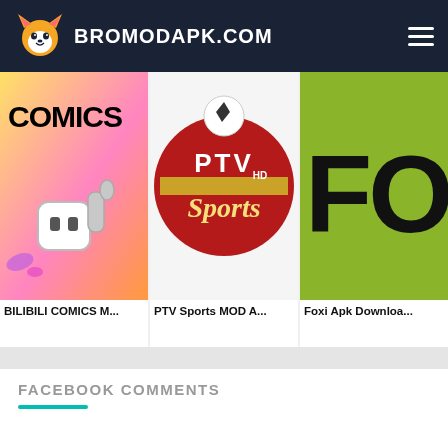BROMODAPK.COM
[Figure (screenshot): App card: BILIBILI COMICS M... - colorful comics app icon with cartoon character giving thumbs up]
BILIBILI COMICS M...
[Figure (screenshot): App card: PTV Sports MOD A... - red circular badge with PTV Sports HD logo]
PTV Sports MOD A...
[Figure (screenshot): App card: Foxi Apk Downloa... - green background with FO text visible]
Foxi Apk Downloa...
FACEBOOK COMMENTS